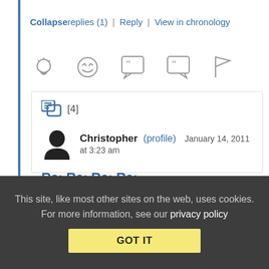Collapse replies (1) | Reply | View in chronology
[Figure (other): Row of action icons: lightbulb, laughing face, open-quote speech bubble, close-quote speech bubble, flag]
[4]
Christopher (profile)  January 14, 2011 at 3:23 am
Re: Re: Re: Re:
Yeah, I should have used that joke at the end of my statement... definitely busted here
This site, like most other sites on the web, uses cookies. For more information, see our privacy policy
GOT IT